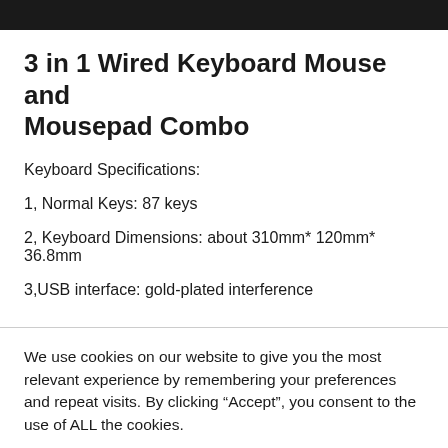[Figure (photo): Dark/black top portion of a product image (keyboard and mouse combo)]
3 in 1 Wired Keyboard Mouse and Mousepad Combo
Keyboard Specifications:
1, Normal Keys: 87 keys
2, Keyboard Dimensions: about 310mm* 120mm* 36.8mm
3,USB interface: gold-plated interference
We use cookies on our website to give you the most relevant experience by remembering your preferences and repeat visits. By clicking “Accept”, you consent to the use of ALL the cookies.
Cookie settings | ACCEPT